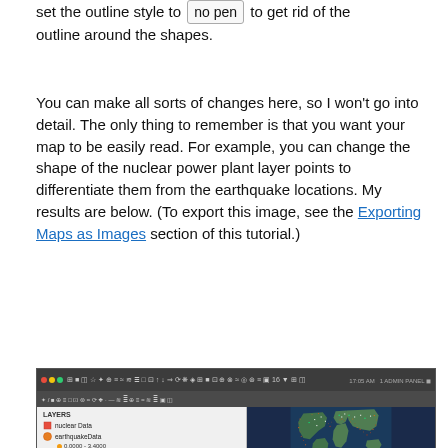set the outline style to [no pen] to get rid of the outline around the shapes.
You can make all sorts of changes here, so I won't go into detail. The only thing to remember is that you want your map to be easily read. For example, you can change the shape of the nuclear power plant layer points to differentiate them from the earthquake locations. My results are below. (To export this image, see the Exporting Maps as Images section of this tutorial.)
[Figure (screenshot): Screenshot of a GIS application showing a world map with earthquake and nuclear power plant locations plotted as colored points. The left sidebar shows layer controls including 'nuclear Data', 'earthquakeData' with graduated symbols, and 'nullsCounty earthquaho'. The map shows earthquake locations as orange/red graduated dots along tectonic plate boundaries, and nuclear power plants as white/green dots.]